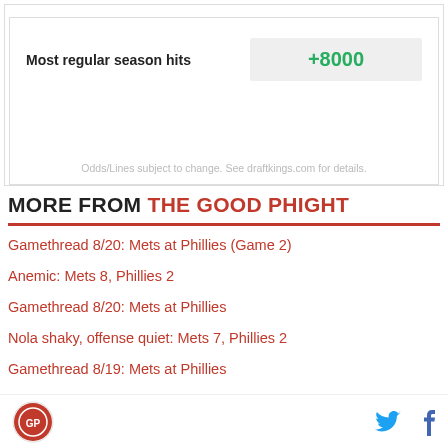| Most regular season hits | +8000 |
| --- | --- |
Odds/Lines subject to change. See draftkings.com for details.
MORE FROM THE GOOD PHIGHT
Gamethread 8/20: Mets at Phillies (Game 2)
Anemic: Mets 8, Phillies 2
Gamethread 8/20: Mets at Phillies
Nola shaky, offense quiet: Mets 7, Phillies 2
Gamethread 8/19: Mets at Phillies
The Good Phight logo, Twitter icon, Facebook icon